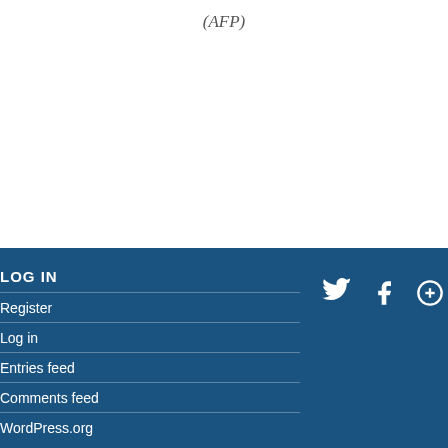(AFP)
LOG IN
Register
Log in
Entries feed
Comments feed
WordPress.org